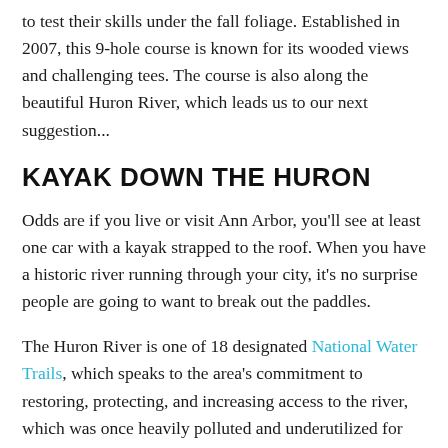to test their skills under the fall foliage. Established in 2007, this 9-hole course is known for its wooded views and challenging tees. The course is also along the beautiful Huron River, which leads us to our next suggestion...
KAYAK DOWN THE HURON
Odds are if you live or visit Ann Arbor, you'll see at least one car with a kayak strapped to the roof. When you have a historic river running through your city, it's no surprise people are going to want to break out the paddles.
The Huron River is one of 18 designated National Water Trails, which speaks to the area's commitment to restoring, protecting, and increasing access to the river, which was once heavily polluted and underutilized for recreation. If you're feeling adventurous, we suggest the human-made white water run at Argo Cascades